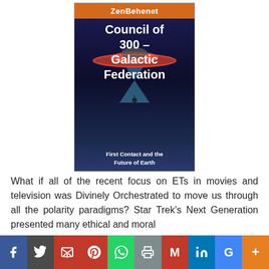[Figure (illustration): Book cover for 'Council of 300 - Galactic Federation: First Contact and the Future of Earth' by ZenBehenet. Dark blue background with UFO/flying saucer image and light beam.]
What if all of the recent focus on ETs in movies and television was Divinely Orchestrated to move us through all the polarity paradigms? Star Trek's Next Generation presented many ethical and moral
[Figure (infographic): Social media sharing bar with icons for Facebook, Twitter, Email, Pinterest, WhatsApp, Print, Gmail, LinkedIn, Google+, and More.]